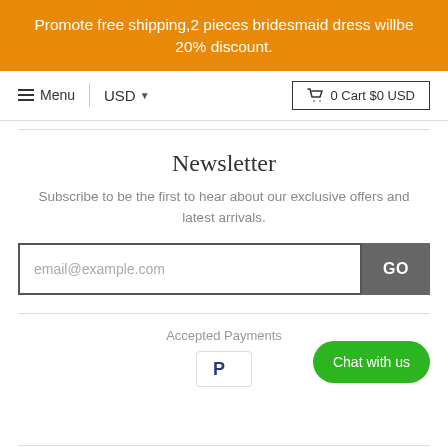Promote free shipping,2 pieces bridesmaid dress willbe 20% discount.
≡ Menu | USD ▼   🛒 0 Cart $0 USD
Newsletter
Subscribe to be the first to hear about our exclusive offers and latest arrivals.
[Figure (other): Email input field with placeholder 'email@example.com' and a GO submit button]
Accepted Payments
[Figure (logo): PayPal logo icon in a bordered box]
[Figure (other): Green rounded 'Chat with us' button]
© 2022. TANYA BRIDAL